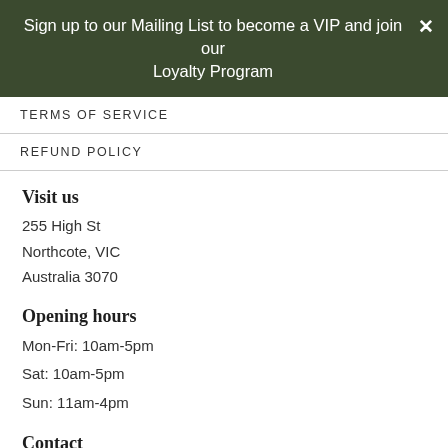Sign up to our Mailing List to become a VIP and join our Loyalty Program
TERMS OF SERVICE
REFUND POLICY
Visit us
255 High St
Northcote, VIC
Australia 3070
Opening hours
Mon-Fri: 10am-5pm
Sat: 10am-5pm
Sun: 11am-4pm
Contact
03 9489 5204
h...e.com.au
Rewards